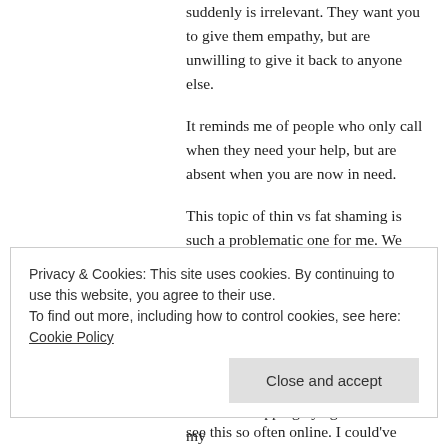suddenly is irrelevant. They want you to give them empathy, but are unwilling to give it back to anyone else.
It reminds me of people who only call when they need your help, but are absent when you are now in need.
This topic of thin vs fat shaming is such a problematic one for me. We get so caught up in our own agenda, we fail to realize how harmful the agenda is for someone else. I'm all for loving your own body and embracing who you are. However, ridiculing someone else in the process is an awful way to uplift yourself. Sadly, I see this so often online. I could've made a post made
Privacy & Cookies: This site uses cookies. By continuing to use this website, you agree to their use.
To find out more, including how to control cookies, see here: Cookie Policy
Close and accept
much for stopping by again. I know my